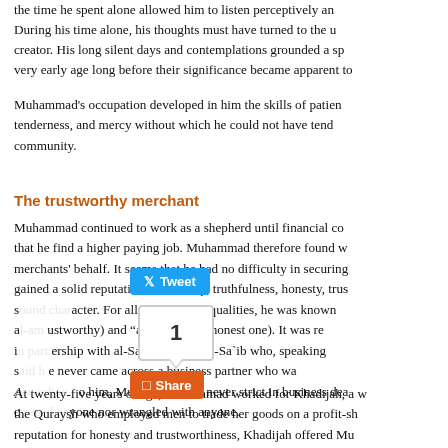the time he spent alone allowed him to listen perceptively and During his time alone, his thoughts must have turned to the u creator. His long silent days and contemplations grounded a sp very early age long before their significance became apparent to
Muhammad's occupation developed in him the skills of patien tenderness, and mercy without which he could not have tend community.
The trustworthy merchant
Muhammad continued to work as a shepherd until financial co that he find a higher paying job. Muhammad therefore found w merchants' behalf. It seems that he had no difficulty in securing gained a solid reputation for honesty, truthfulness, honesty, tru sound character. For all of these fine qualities, he was known a ustworthy) and "al-sadiq" (the honest one). It was re i ership with al-Sa`ib Ibn Abu al-Sa`ib who, speaking s e never came across a business partner who wa A o him, Muhammad was never strict in business dea c yone nor wrangled with anyone.
At twenty-five years of age, Muhammad worked for Khadijah, a w the Quraysh who employed men to trade her goods on a profit-sh reputation for honesty and trustworthiness, Khadijah offered Mu she did other merchants.